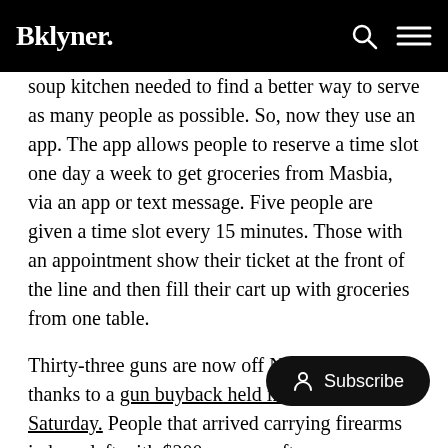Bklyner.
soup kitchen needed to find a better way to serve as many people as possible. So, now they use an app. The app allows people to reserve a time slot one day a week to get groceries from Masbia, via an app or text message. Five people are given a time slot every 15 minutes. Those with an appointment show their ticket at the front of the line and then fill their cart up with groceries from one table.
Thirty-three guns are now off New York's streets thanks to a gun buyback held in Brooklyn on Saturday. People that arrived carrying firearms in bags left with $200 per gun after surrender, no questions asked. The event was held by Brooklyn District Attorney Eric Gonzalez and the NYPD as the city faces an uptick in gun violence